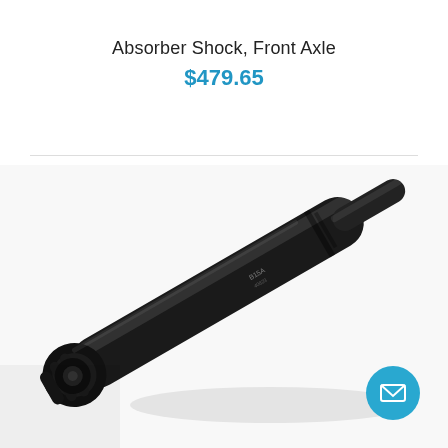Absorber Shock, Front Axle
$479.65
[Figure (photo): A black automotive shock absorber (front axle) photographed diagonally against a white background. The part is cylindrical and black, with a ribbed rubber boot visible at the top-left end, and a narrower shaft extending toward the lower right.]